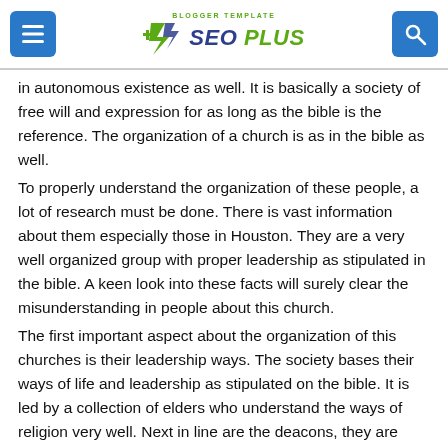SEO PLUS — Blogger Template
in autonomous existence as well. It is basically a society of free will and expression for as long as the bible is the reference. The organization of a church is as in the bible as well.
To properly understand the organization of these people, a lot of research must be done. There is vast information about them especially those in Houston. They are a very well organized group with proper leadership as stipulated in the bible. A keen look into these facts will surely clear the misunderstanding in people about this church.
The first important aspect about the organization of this churches is their leadership ways. The society bases their ways of life and leadership as stipulated on the bible. It is led by a collection of elders who understand the ways of religion very well. Next in line are the deacons, they are also highly learned on biblical aspect of life. The final step in leadership of a society is the ministerial stuff.
The elders are the overall leaders in this sect as their word is as good as law. One of their numerous high profile roles is to manage all the